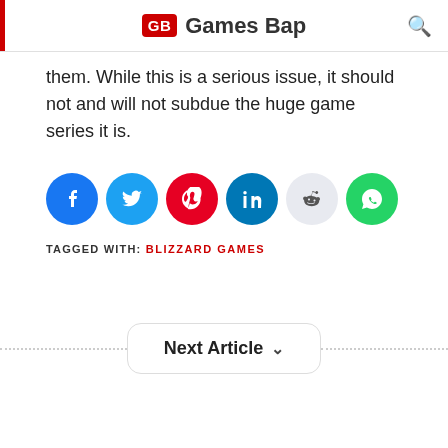GB Games Bap
them. While this is a serious issue, it should not and will not subdue the huge game series it is.
[Figure (infographic): Row of social media share buttons: Facebook (blue), Twitter (blue), Pinterest (red), LinkedIn (teal), Reddit (light grey), WhatsApp (green)]
TAGGED WITH: BLIZZARD GAMES
Next Article